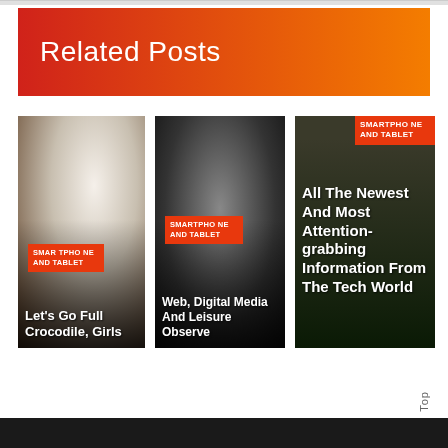Related Posts
[Figure (photo): Card 1: Photo background with white/cream fabric, category tag 'SMARTPHONE AND TABLET', title 'Let’s Go Full Crocodile, Girls']
[Figure (photo): Card 2: Dark photo background with media/people images, category tag 'SMARTPHONE AND TABLET', title 'Web, Digital Media And Leisure Observe']
[Figure (photo): Card 3: Dark tech/screen background, category tag 'SMARTPHONE AND TABLET', title 'All The Newest And Most Attention-grabbing Information From The Tech World']
Top